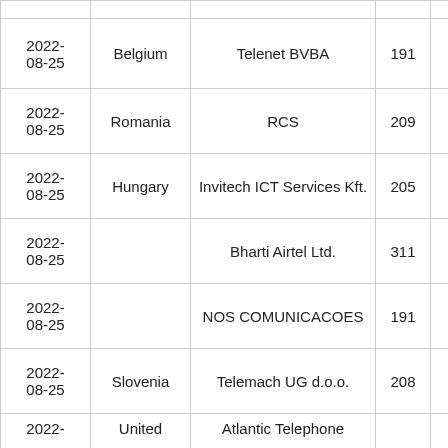| Date | Country | Operator | Num |  |
| --- | --- | --- | --- | --- |
| 2022-08-25 | Belgium | Telenet BVBA | 191 |  |
| 2022-08-25 | Romania | RCS | 209 |  |
| 2022-08-25 | Hungary | Invitech ICT Services Kft. | 205 |  |
| 2022-08-25 |  | Bharti Airtel Ltd. | 311 |  |
| 2022-08-25 |  | NOS COMUNICACOES | 191 |  |
| 2022-08-25 | Slovenia | Telemach UG d.o.o. | 208 |  |
| 2022- | United | Atlantic Telephone |  |  |